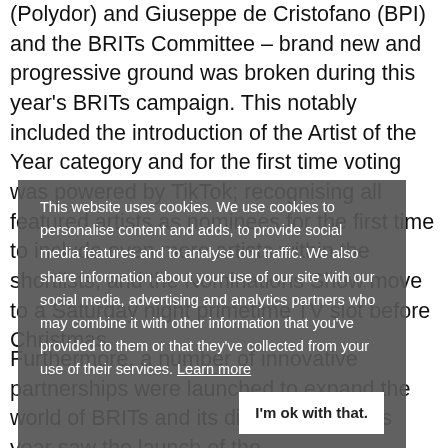Chairs of the BRITs Digital Committee Luke Ferrar (Polydor) and Giuseppe de Cristofano (BPI) and the BRITs Committee – brand new and progressive ground was broken during this year's BRITs campaign. This notably included the introduction of the Artist of the Year category and for the first time voting was powered by TikTok; recognising all featured artists as nominees for the first time to include even more artists within the shortlists; and the Nominations Show move to a Saturday night primetime TV slot before Christmas.
Furthermore, a number of innovative partnerships were launched to expand the world of BRITs and its digital reach. This year saw the launch of the
This website uses cookies. We use cookies to personalise content and adds, to provide social media features and to analyse our traffic. We also share information about your use of our site with our social media, advertising and analytics partners who may combine it with other information that you've provided to them or that they've collected from your use of their services. Learn more